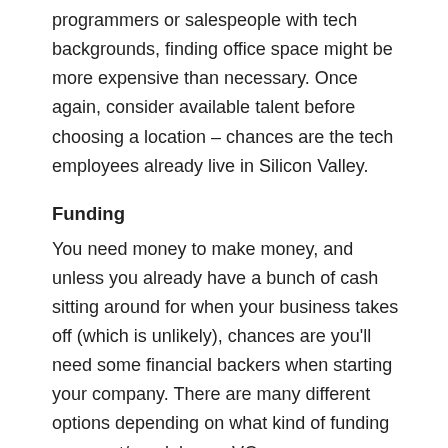programmers or salespeople with tech backgrounds, finding office space might be more expensive than necessary. Once again, consider available talent before choosing a location – chances are the tech employees already live in Silicon Valley.
Funding
You need money to make money, and unless you already have a bunch of cash sitting around for when your business takes off (which is unlikely), chances are you'll need some financial backers when starting your company. There are many different options depending on what kind of funding you want/need: loans, VCs, or even Kickstarter. Do your research and find out which option best suits your needs and budget.
Marketing/Sales Strategy
As an entrepreneur, one of your biggest challenges